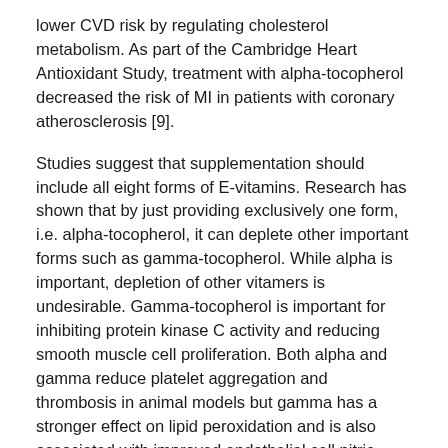lower CVD risk by regulating cholesterol metabolism. As part of the Cambridge Heart Antioxidant Study, treatment with alpha-tocopherol decreased the risk of MI in patients with coronary atherosclerosis [9].
Studies suggest that supplementation should include all eight forms of E-vitamins. Research has shown that by just providing exclusively one form, i.e. alpha-tocopherol, it can deplete other important forms such as gamma-tocopherol. While alpha is important, depletion of other vitamers is undesirable. Gamma-tocopherol is important for inhibiting protein kinase C activity and reducing smooth muscle cell proliferation. Both alpha and gamma reduce platelet aggregation and thrombosis in animal models but gamma has a stronger effect on lipid peroxidation and is also associated with improved endothelial cell nitric oxide synthesis [10].
Resveratrol and Carnitine Post-MI
Resveratrol, an antioxidant anti-inflammatory, and assists in...